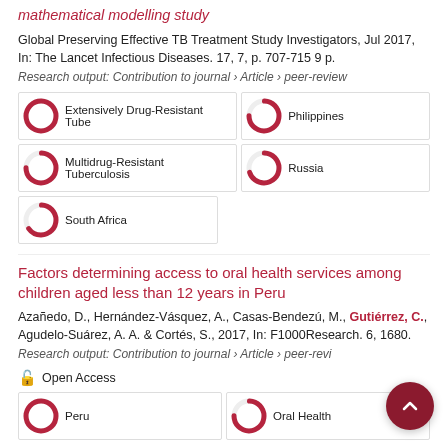mathematical modelling study
Global Preserving Effective TB Treatment Study Investigators, Jul 2017, In: The Lancet Infectious Diseases. 17, 7, p. 707-715 9 p.
Research output: Contribution to journal › Article › peer-review
[Figure (infographic): Keyword badges: Extensively Drug-Resistant Tube (100%), Philippines (75%), Multidrug-Resistant Tuberculosis (75%), Russia (70%), South Africa (65%)]
Factors determining access to oral health services among children aged less than 12 years in Peru
Azañedo, D., Hernández-Vásquez, A., Casas-Bendezú, M., Gutiérrez, C., Agudelo-Suárez, A. A. & Cortés, S., 2017, In: F1000Research. 6, 1680.
Research output: Contribution to journal › Article › peer-review
Open Access
[Figure (infographic): Keyword badges: Peru (100%), Oral Health (75%)]